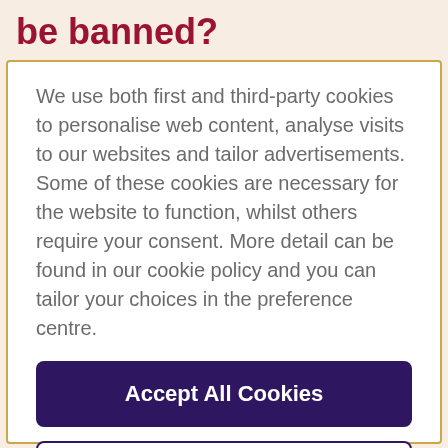be banned?
We use both first and third-party cookies to personalise web content, analyse visits to our websites and tailor advertisements. Some of these cookies are necessary for the website to function, whilst others require your consent. More detail can be found in our cookie policy and you can tailor your choices in the preference centre.
Accept All Cookies
Cookies Settings